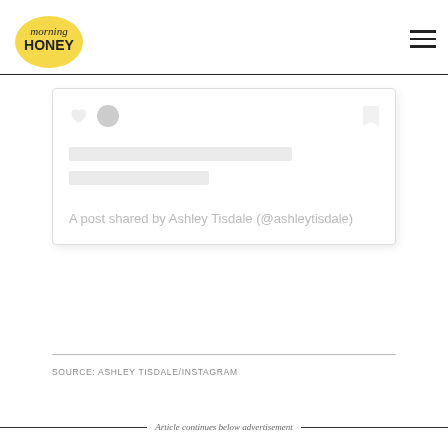morning HONEY
[Figure (screenshot): Instagram embed card placeholder showing heart and comment icons, a bookmark icon, two gray loading bars, and caption text: 'A post shared by Ashley Tisdale (@ashleytisdale)']
SOURCE: ASHLEY TISDALE/INSTAGRAM
Article continues below advertisement